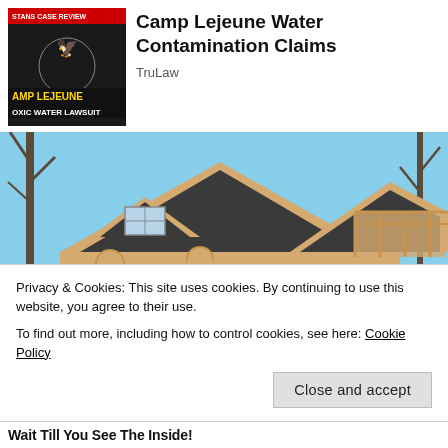[Figure (illustration): Camp Lejeune Toxic Water Lawsuit thumbnail with text 'STANS CASE REVIEW', 'AMP LEJEUNE', 'OXIC WATER LAWSUIT' on dark background with eagle emblem]
Camp Lejeune Water Contamination Claims
TruLaw
[Figure (photo): Exterior photo of a log cabin / wooden house with dark shingled roof, balcony, decorative wooden elements, and a lantern, set against a blue sky with bare trees]
Privacy & Cookies: This site uses cookies. By continuing to use this website, you agree to their use.
To find out more, including how to control cookies, see here: Cookie Policy
Wait Till You See The Inside!